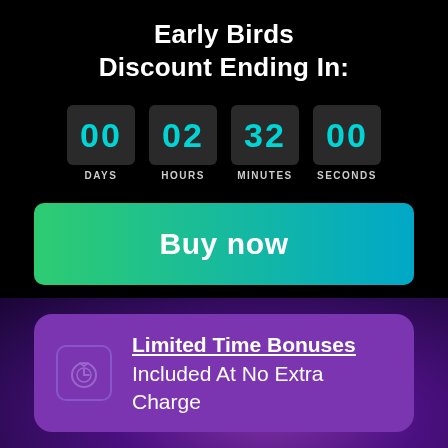Early Birds Discount Ending In:
[Figure (infographic): Countdown timer showing 00 DAYS, 02 HOURS, 32 MINUTES, 00 SECONDS in cyan digital numbers on dark grey boxes]
Buy now
Limited Time Bonuses Included At No Extra Charge